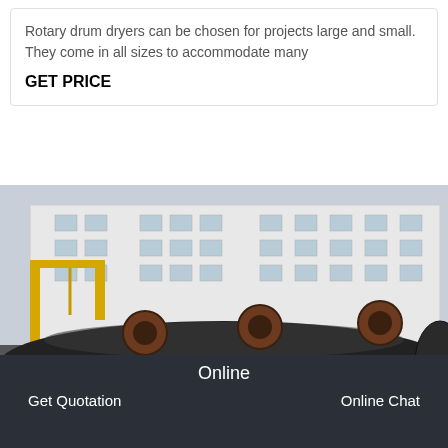Rotary drum dryers can be chosen for projects large and small. They come in all sizes to accommodate many
GET PRICE
[Figure (photo): Industrial rotary drum dryer cylinder lying on supports in a factory yard, with a yellow gantry crane visible and a large multi-story white factory building in the background.]
Online
Get Quotation
Online Chat